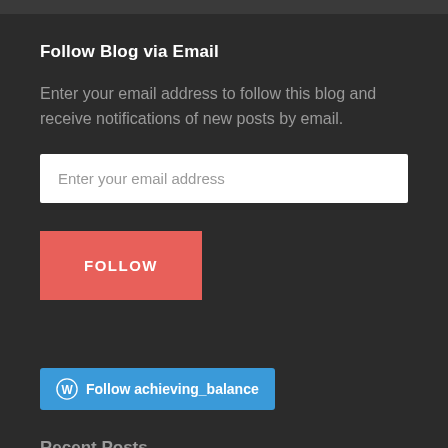Follow Blog via Email
Enter your email address to follow this blog and receive notifications of new posts by email.
[Figure (screenshot): Email input field with placeholder text 'Enter your email address']
[Figure (screenshot): Red FOLLOW button]
[Figure (screenshot): Blue WordPress follow button with WordPress logo and text 'Follow achieving_balance']
Recent Posts